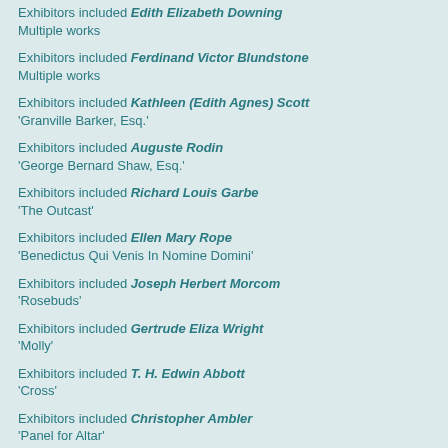Exhibitors included Edith Elizabeth Downing Multiple works
Exhibitors included Ferdinand Victor Blundstone Multiple works
Exhibitors included Kathleen (Edith Agnes) Scott 'Granville Barker, Esq.'
Exhibitors included Auguste Rodin 'George Bernard Shaw, Esq.'
Exhibitors included Richard Louis Garbe 'The Outcast'
Exhibitors included Ellen Mary Rope 'Benedictus Qui Venis In Nomine Domini'
Exhibitors included Joseph Herbert Morcom 'Rosebuds'
Exhibitors included Gertrude Eliza Wright 'Molly'
Exhibitors included T. H. Edwin Abbott 'Cross'
Exhibitors included Christopher Ambler 'Panel for Altar'
Exhibitors included Albert Bruce Joy Multiple works
Exhibitors included Charles John Allen Multiple works